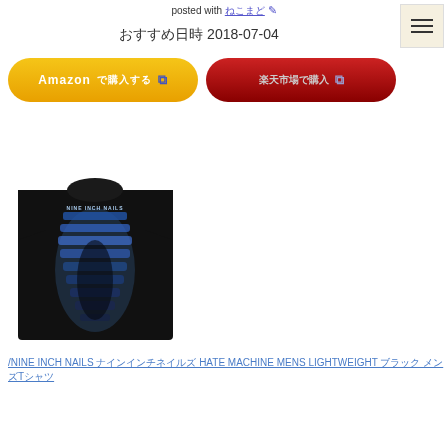posted with ねこまど ↗
おすすめ日時 2018-07-04
[Figure (other): Amazon購入ボタン (orange gradient pill button with external link icon)]
[Figure (other): 楽天市場購入ボタン (dark red gradient pill button with external link icon)]
[Figure (photo): Nine Inch Nails black t-shirt with blue graphic design on a model]
/NINE INCH NAILS ナインインチネイルズ HATE MACHINE MENS LIGHTWEIGHT ブラック メンズTシャツ